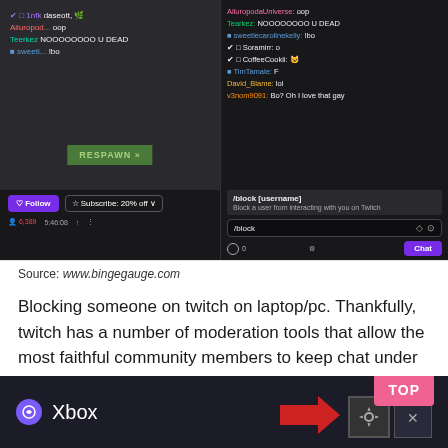[Figure (screenshot): Twitch stream screenshot showing game with chat overlay on left, and chat panel on right with /block command tooltip and input field. Follow and Subscribe buttons visible on bottom bar.]
Source: www.bingegauge.com
Blocking someone on twitch on laptop/pc. Thankfully, twitch has a number of moderation tools that allow the most faithful community members to keep chat under control.
[Figure (screenshot): Bottom portion of Xbox settings bar with Xbox logo, red arrow pointing to gear/settings icon, TOP button in pink, and X close button.]